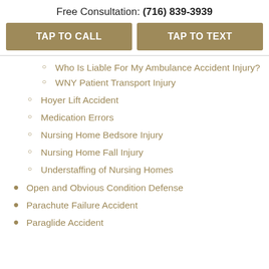Free Consultation: (716) 839-3939
TAP TO CALL
TAP TO TEXT
Who Is Liable For My Ambulance Accident Injury?
WNY Patient Transport Injury
Hoyer Lift Accident
Medication Errors
Nursing Home Bedsore Injury
Nursing Home Fall Injury
Understaffing of Nursing Homes
Open and Obvious Condition Defense
Parachute Failure Accident
Paraglide Accident